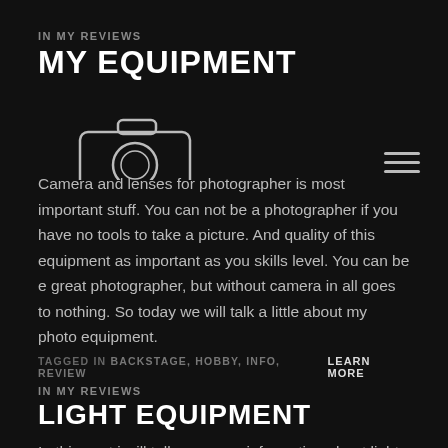IN MY REVIEWS
MY EQUIPMENT
[Figure (logo): Camera icon with text CONCEZIO VALERIO FOTOGRAFO in white outline]
Camera and lenses for photographer is most important stuff. You can not be a photographer if you have no tools to take a picture. And quality of this equipment as important as you skills level. You can be e great photographer, but without camera in all goes to nothing. So today we will talk a little about my photo equipment.
TAGGED IN BACKSTAGE, HOBBY, INFO, REVIEW    LEARN MORE
IN MY REVIEWS
LIGHT EQUIPMENT
In this post i will tell you some information about light